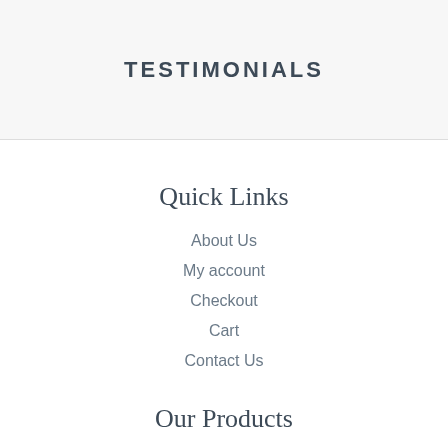TESTIMONIALS
Quick Links
About Us
My account
Checkout
Cart
Contact Us
Our Products